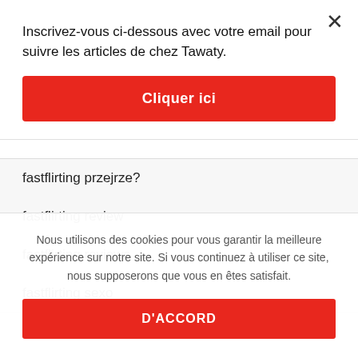Inscrivez-vous ci-dessous avec votre email pour suivre les articles de chez Tawaty.
Cliquer ici
fastflirting przejrze?
fastflirting review
fastflirting reviews
fastflirting sexo
Nous utilisons des cookies pour vous garantir la meilleure expérience sur notre site. Si vous continuez à utiliser ce site, nous supposerons que vous en êtes satisfait.
D'ACCORD